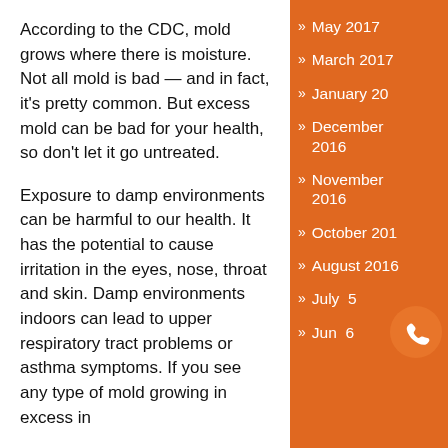According to the CDC, mold grows where there is moisture. Not all mold is bad — and in fact, it's pretty common. But excess mold can be bad for your health, so don't let it go untreated.
Exposure to damp environments can be harmful to our health. It has the potential to cause irritation in the eyes, nose, throat and skin. Damp environments indoors can lead to upper respiratory tract problems or asthma symptoms. If you see any type of mold growing in excess in
May 2017
March 2017
January 20
December 2016
November 2016
October 201
August 2016
July 5
Jun 6